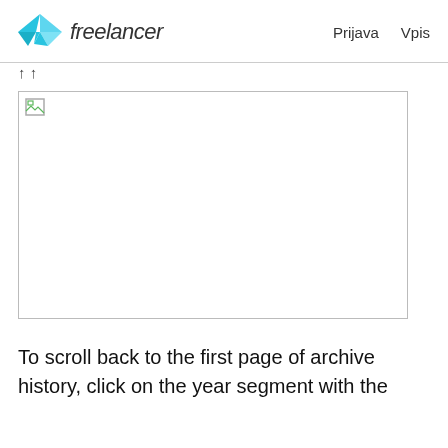Freelancer  Prijava  Vpis
[Figure (photo): Broken/unloaded image placeholder with a small broken image icon in the top-left corner, inside a rectangular border.]
To scroll back to the first page of archive history, click on the year segment with the